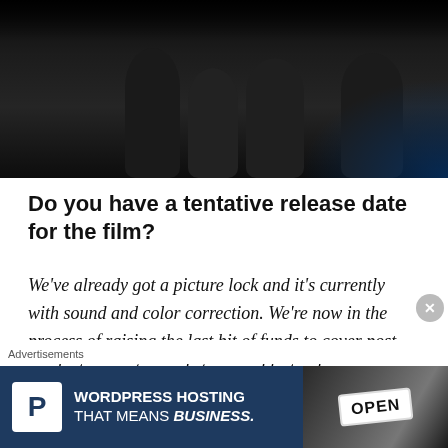[Figure (photo): Dark photograph of people on a film set, silhouettes visible against a dark background with a slight blue accent lighting on the right side]
Do you have a tentative release date for the film?
We've already got a picture lock and it's currently with sound and color correction. We're now in the process of raising the last bit of funds to cover post-production costs, marketing, and festival submission. Our goal is
Advertisements
[Figure (screenshot): Advertisement banner for WordPress Hosting - dark blue background with a P logo on white square, text reading WORDPRESS HOSTING THAT MEANS BUSINESS. and an image of an OPEN sign on the right]